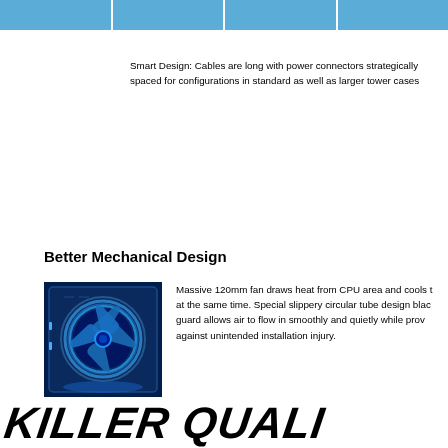Smart Design: Cables are long with power connectors strategically spaced for configurations in standard as well as larger tower cases
Better Mechanical Design
[Figure (photo): Blue LED 120mm fan in a power supply unit, illuminated with blue light]
Massive 120mm fan draws heat from CPU area and cools the power supply at the same time. Special slippery circular tube design black fan guard allows air to flow in smoothly and quietly while providing protection against unintended installation injury.
[Figure (logo): Killer Quality logo in large italic stylized script font]